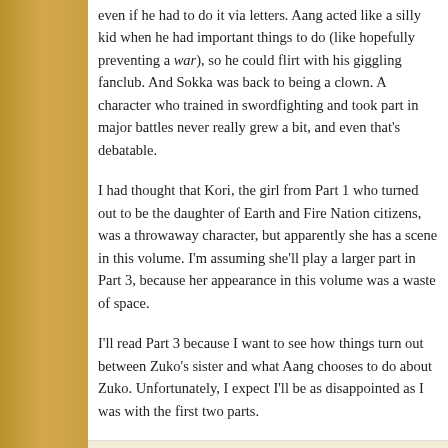even if he had to do it via letters. Aang acted like a silly kid when he had important things to do (like hopefully preventing a war), so he could flirt with his giggling fanclub. And Sokka was back to being a clown. A character who trained in swordfighting and took part in major battles never really grew a bit, and even that's debatable.
I had thought that Kori, the girl from Part 1 who turned out to be the daughter of Earth and Fire Nation citizens, was a throwaway character, but apparently she has a scene in this volume. I'm assuming she'll play a larger part in Part 3, because her appearance in this volume was a waste of space.
I'll read Part 3 because I want to see how things turn out between Zuko's sister and what Aang chooses to do about Zuko. Unfortunately, I expect I'll be as disappointed as I was with the first two parts.
Posted by A Library Girl at 11:39 PM   0 comments
Tags: Avatar: The Last Airbender, graphic novel
FRIDAY, AUGUST 2, 2013
Unexpected, but yay!